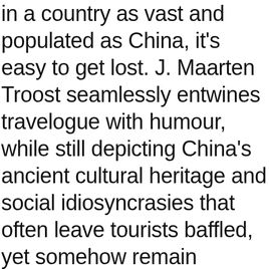in a country as vast and populated as China, it's easy to get lost. J. Maarten Troost seamlessly entwines travelogue with humour, while still depicting China's ancient cultural heritage and social idiosyncrasies that often leave tourists baffled, yet somehow remain endearing.